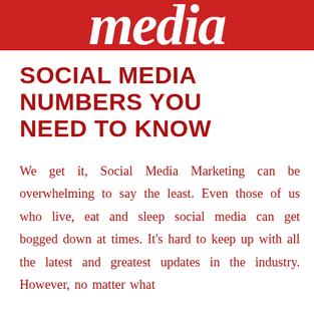media
SOCIAL MEDIA NUMBERS YOU NEED TO KNOW
We get it, Social Media Marketing can be overwhelming to say the least. Even those of us who live, eat and sleep social media can get bogged down at times. It’s hard to keep up with all the latest and greatest updates in the industry. However, no matter what